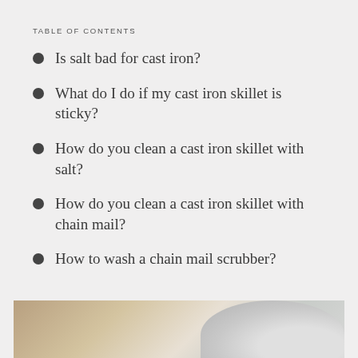TABLE OF CONTENTS
Is salt bad for cast iron?
What do I do if my cast iron skillet is sticky?
How do you clean a cast iron skillet with salt?
How do you clean a cast iron skillet with chain mail?
How to wash a chain mail scrubber?
[Figure (photo): Close-up photo of cast iron skillet cleaning, partially visible at the bottom of the page]